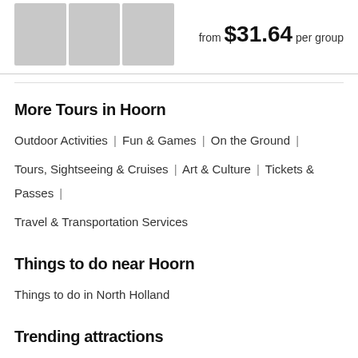[Figure (photo): Strip of three travel/tour photos showing people]
from $31.64 per group
More Tours in Hoorn
Outdoor Activities | Fun & Games | On the Ground | Tours, Sightseeing & Cruises | Art & Culture | Tickets & Passes | Travel & Transportation Services
Things to do near Hoorn
Things to do in North Holland
Trending attractions
Hoover Dam | Molokini Crater | Colosseum | Eiffel Tower |